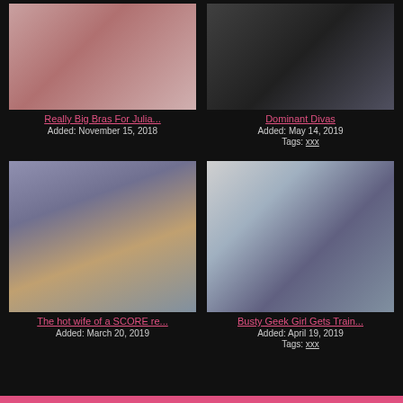[Figure (photo): Thumbnail image top left]
Really Big Bras For Julia...
Added: November 15, 2018
[Figure (photo): Thumbnail image top right]
Dominant Divas
Added: May 14, 2019
Tags: xxx
[Figure (photo): Thumbnail image bottom left]
The hot wife of a SCORE re...
Added: March 20, 2019
[Figure (photo): Thumbnail image bottom right]
Busty Geek Girl Gets Train...
Added: April 19, 2019
Tags: xxx